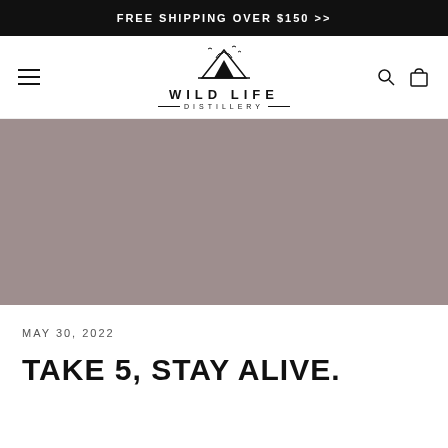FREE SHIPPING OVER $150 >>
[Figure (logo): Wild Life Distillery logo with mountain and birds illustration]
[Figure (photo): Large hero image with grey/taupe background color]
MAY 30, 2022
TAKE 5, STAY ALIVE.